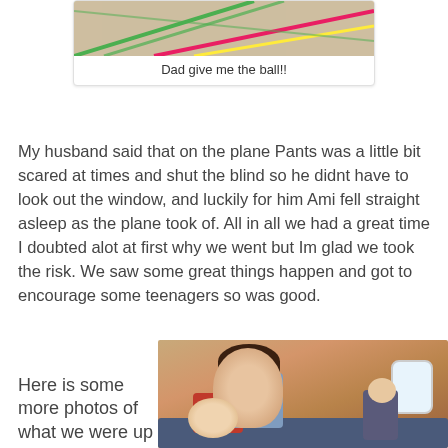[Figure (photo): Photo of a sports court floor with colored lines (green, red, yellow) visible from above]
Dad give me the ball!!
My husband said that on the plane Pants was a little bit scared at times and shut the blind so he didnt have to look out the window, and luckily for him Ami fell straight asleep as the plane took of. All in all we had a great time I doubted alot at first why we went but Im glad we took the risk. We saw some great things happen and got to encourage some teenagers so was good.
Here is some more photos of what we were up
[Figure (photo): Photo of a man smiling with two young children on an airplane, with a window visible in the background]